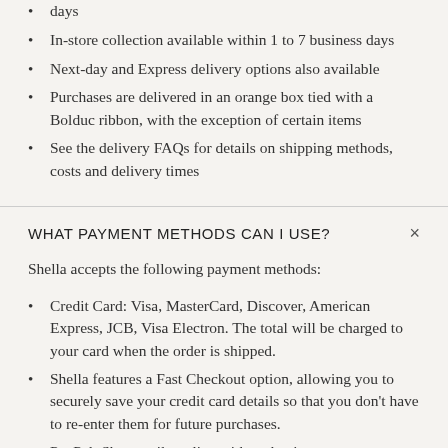days
In-store collection available within 1 to 7 business days
Next-day and Express delivery options also available
Purchases are delivered in an orange box tied with a Bolduc ribbon, with the exception of certain items
See the delivery FAQs for details on shipping methods, costs and delivery times
WHAT PAYMENT METHODS CAN I USE?
Shella accepts the following payment methods:
Credit Card: Visa, MasterCard, Discover, American Express, JCB, Visa Electron. The total will be charged to your card when the order is shipped.
Shella features a Fast Checkout option, allowing you to securely save your credit card details so that you don't have to re-enter them for future purchases.
PayPal: Shop easily online without having to enter your credit card details on the website. Your account will be charged once the order is completed. To register for a